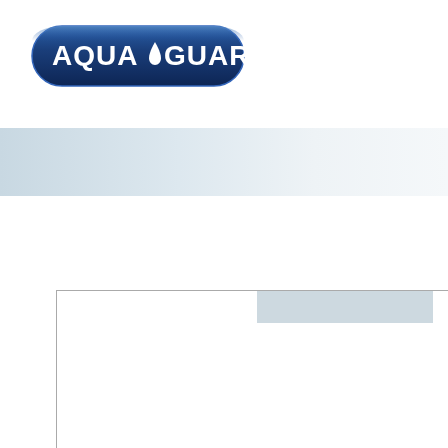[Figure (logo): Aqua-Guard logo: dark navy blue rounded pill/badge shape with chrome-style text reading AQUA GUARD with a water drop icon between the words]
[Figure (other): Horizontal decorative banner strip with a gradient from steel blue-grey on the left fading to near white on the right]
[Figure (other): Partial table frame outline with a light blue-grey shaded header cell in the upper right portion of the table, table content area is white and empty]